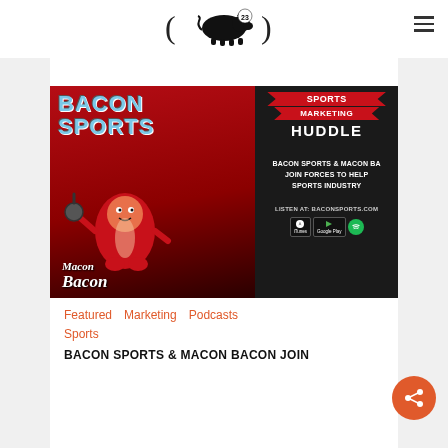Bacon Sports logo with pig silhouette and number 23
[Figure (screenshot): Bacon Sports & Macon Bacon Sports Marketing Huddle podcast promotional image. Left half: red gradient background with 'BACON SPORTS' text and Macon Bacon mascot. Right half: black background with 'SPORTS MARKETING HUDDLE' banner, 'BACON SPORTS & MACON BA JOIN FORCES TO HELP SPORTS INDUSTRY', 'LISTEN AT: BACONSPORTS.COM', iTunes, Google Play, and Spotify badges.]
Featured   Marketing   Podcasts
Sports
BACON SPORTS & MACON BACON JOIN